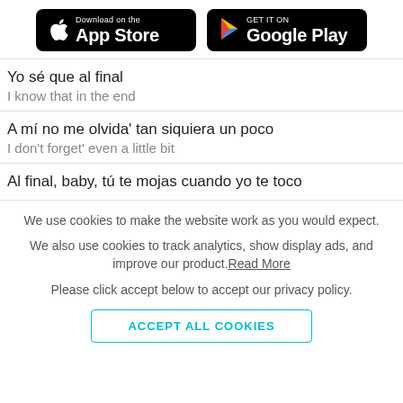[Figure (logo): App Store and Google Play download badges on black rounded rectangle backgrounds]
Yo sé que al final
I know that in the end
A mí no me olvida' tan siquiera un poco
I don't forget' even a little bit
Al final, baby, tú te mojas cuando yo te toco
We use cookies to make the website work as you would expect.
We also use cookies to track analytics, show display ads, and improve our product. Read More
Please click accept below to accept our privacy policy.
ACCEPT ALL COOKIES